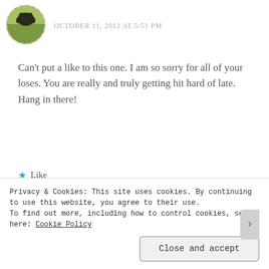[Figure (photo): Small circular avatar photo of a person/animal in a field, with dashed circular border]
OCTOBER 11, 2012 AT 5:51 PM
Can't put a like to this one. I am so sorry for all of your loses. You are really and truly getting hit hard of late. Hang in there!
Like
Reply
[Figure (photo): Small circular avatar photo of Elisabeth Crisp (grey-haired woman) with dashed circular border]
Elisabeth Crisp / @crisplyspoken
Privacy & Cookies: This site uses cookies. By continuing to use this website, you agree to their use.
To find out more, including how to control cookies, see here: Cookie Policy
Close and accept